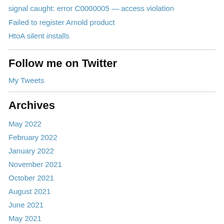signal caught: error C0000005 — access violation
Failed to register Arnold product
HtoA silent installs
Follow me on Twitter
My Tweets
Archives
May 2022
February 2022
January 2022
November 2021
October 2021
August 2021
June 2021
May 2021
April 2021